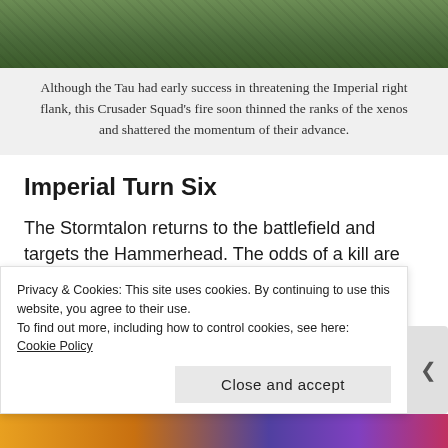[Figure (photo): Partial photograph of outdoor scene with green foliage and wooden structures, cropped at top of page]
Although the Tau had early success in threatening the Imperial right flank, this Crusader Squad's fire soon thinned the ranks of the xenos and shattered the momentum of their advance.
Imperial Turn Six
The Stormtalon returns to the battlefield and targets the Hammerhead. The odds of a kill are extremely unlikely, but nothing else is likely to affect the game's outcome. In a surprisingly effective strafing run, it takes down the xeno tank. A pleasant surprise. [22]
Privacy & Cookies: This site uses cookies. By continuing to use this website, you agree to their use.
To find out more, including how to control cookies, see here: Cookie Policy
Close and accept